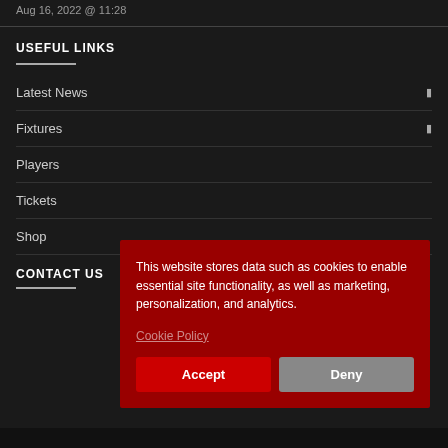Aug 16, 2022 @ 11:28
USEFUL LINKS
Latest News
Fixtures
Players
Tickets
Shop
CONTACT US
[Figure (screenshot): Cookie consent banner overlay on a dark sports website. Red background box containing text 'This website stores data such as cookies to enable essential site functionality, as well as marketing, personalization, and analytics.' with a 'Cookie Policy' link and Accept/Deny buttons.]